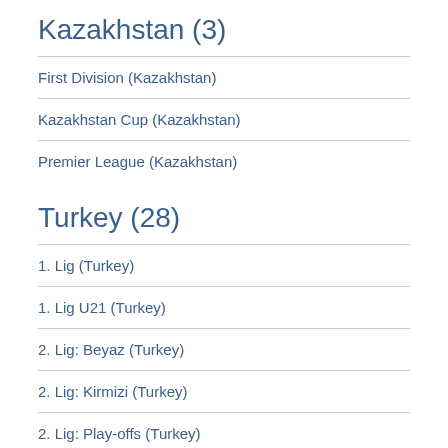Kazakhstan (3)
First Division (Kazakhstan)
Kazakhstan Cup (Kazakhstan)
Premier League (Kazakhstan)
Turkey (28)
1. Lig (Turkey)
1. Lig U21 (Turkey)
2. Lig: Beyaz (Turkey)
2. Lig: Kirmizi (Turkey)
2. Lig: Play-offs (Turkey)
2. Lig: Playoff (Turkey)